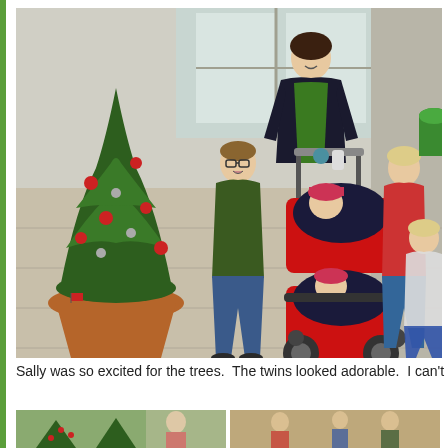[Figure (photo): Family photo inside a building with Christmas tree decorations. A woman stands behind a large red double stroller with two babies/toddlers seated in it. A boy wearing glasses and green shirt stands to the left. Two girls stand to the right. A decorated Christmas tree in a terracotta pot is on the left side. Tiled floor interior setting.]
Sally was so excited for the trees.  The twins looked adorable.  I can't
[Figure (photo): Two small thumbnail photos at the bottom of the page showing Christmas trees and people.]